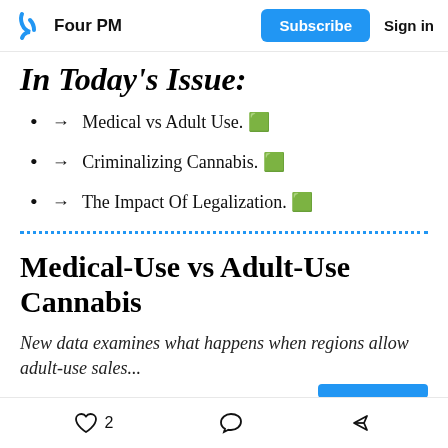Four PM | Subscribe | Sign in
In Today's Issue:
→ Medical vs Adult Use. 🌿
→ Criminalizing Cannabis. 🌿
→ The Impact Of Legalization. 🌿
Medical-Use vs Adult-Use Cannabis
New data examines what happens when regions allow adult-use sales...
2 likes, comment, share